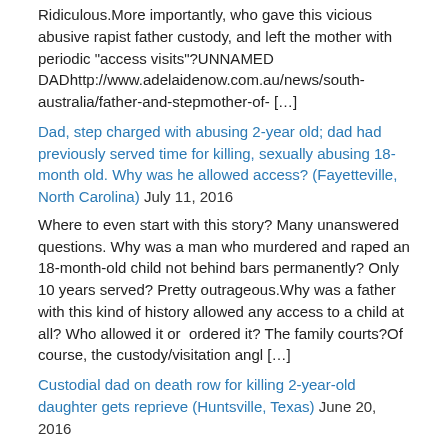Ridiculous.More importantly, who gave this vicious abusive rapist father custody, and left the mother with periodic "access visits"?UNNAMED DADhttp://www.adelaidenow.com.au/news/south-australia/father-and-stepmother-of- […]
Dad, step charged with abusing 2-year old; dad had previously served time for killing, sexually abusing 18-month old. Why was he allowed access? (Fayetteville, North Carolina) July 11, 2016
Where to even start with this story? Many unanswered questions. Why was a man who murdered and raped an 18-month-old child not behind bars permanently? Only 10 years served? Pretty outrageous.Why was a father with this kind of history allowed any access to a child at all? Who allowed it or  ordered it? The family courts?Of course, the custody/visitation angl […]
Custodial dad on death row for killing 2-year-old daughter gets reprieve (Huntsville, Texas) June 20, 2016
The real unanswered questions that aren't even posed here. How did a felon father with a history of alcohol abuse, parole violations with apparently no interest in childrearing get SOLE CUSTODY of a 2-year-old girl? Who was behind this process? Whatever happened to this child' mother? And notice that Daddy had only managed to keep it